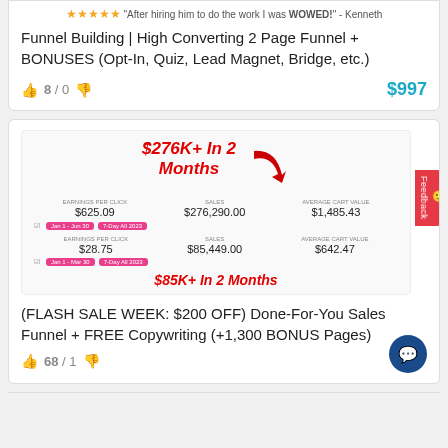"After hiring him to do the work I was WOWED!" - Kenneth
Funnel Building | High Converting 2 Page Funnel + BONUSES (Opt-In, Quiz, Lead Magnet, Bridge, etc.)
8 / 0
$997
[Figure (screenshot): Screenshot showing $276K+ In 2 Months and $85K+ In 2 Months sales funnel results with stats: $625.09, $276,290.00, $1,485.43 and $28.75, $85,449.00, $642.47]
(FLASH SALE WEEK: $200 OFF) Done-For-You Sales Funnel + FREE Copywriting (+1,300 BONUS Pages)
68 / 1